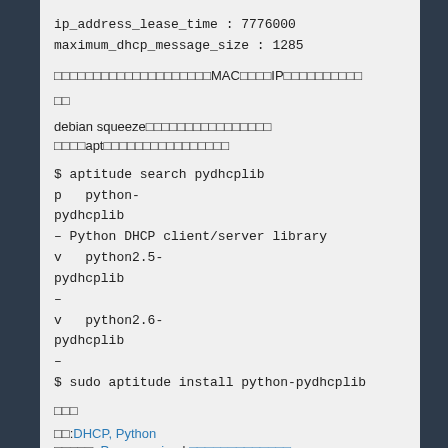ip_address_lease_time : 7776000
maximum_dhcp_message_size : 1285
□□□□□□□□□□□□□□□□□□□□MAC□□□□IP□□□□□□□□□□
□□
debian squeeze□□□□□□□□□□□□□□□□
□□□□apt□□□□□□□□□□□□□□□□
$ aptitude search pydhcplib
p   python-pydhcplib
– Python DHCP client/server library
v   python2.5-pydhcplib
–
v   python2.6-pydhcplib
–
$ sudo aptitude install python-pydhcplib
□□□
□□:DHCP, Python
□□□□□: Programming | □□□□□□□□□□□□□ »